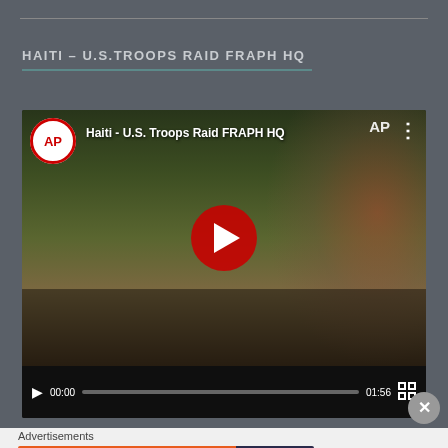HAITI – U.S.TROOPS RAID FRAPH HQ
[Figure (screenshot): YouTube video embed showing AP News video titled 'Haiti - U.S. Troops Raid FRAPH HQ' with military personnel in camouflage in the thumbnail, red YouTube play button in center, AP logo in top-left corner, video duration 01:56, controls bar at bottom.]
Advertisements
[Figure (screenshot): DuckDuckGo advertisement banner: 'Search, browse, and email with more privacy. All in One Free App' on orange background with DuckDuckGo logo on dark blue right panel.]